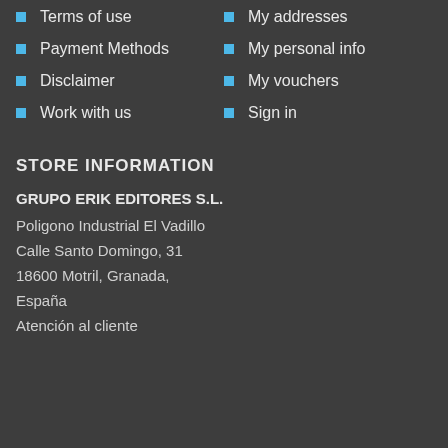Terms of use
My addresses
Payment Methods
My personal info
Disclaimer
My vouchers
Work with us
Sign in
STORE INFORMATION
GRUPO ERIK EDITORES S.L.
Poligono Industrial El Vadillo
Calle Santo Domingo, 31
18600 Motril, Granada,
España
Atención al cliente